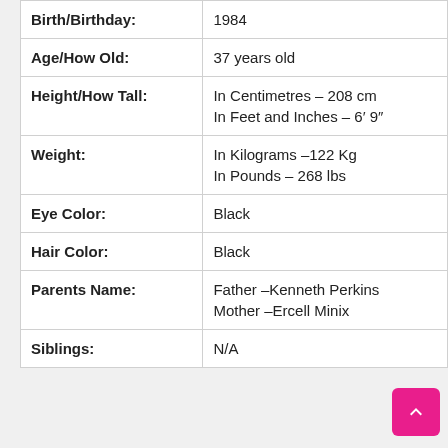| Field | Value |
| --- | --- |
| Birth/Birthday: | 1984 |
| Age/How Old: | 37 years old |
| Height/How Tall: | In Centimetres – 208 cm
In Feet and Inches – 6′ 9″ |
| Weight: | In Kilograms –122 Kg
In Pounds – 268 lbs |
| Eye Color: | Black |
| Hair Color: | Black |
| Parents Name: | Father –Kenneth Perkins
Mother –Ercell Minix |
| Siblings: | N/A |